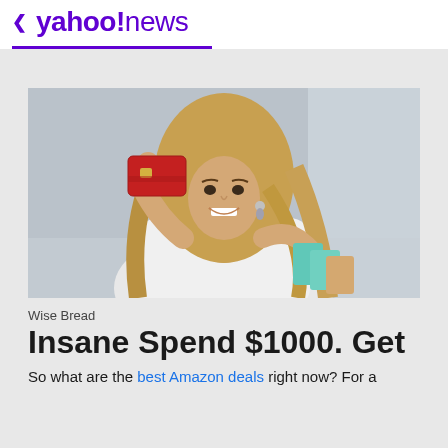< yahoo!news
[Figure (photo): Woman smiling and holding up a red credit card, carrying shopping bags, blurred background]
Wise Bread
Insane Spend $1000. Get
So what are the best Amazon deals right now? For a